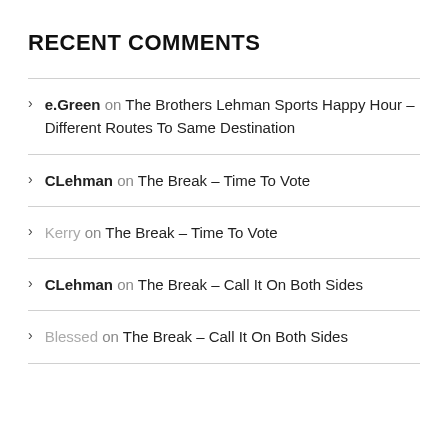RECENT COMMENTS
e.Green on The Brothers Lehman Sports Happy Hour – Different Routes To Same Destination
CLehman on The Break – Time To Vote
Kerry on The Break – Time To Vote
CLehman on The Break – Call It On Both Sides
Blessed on The Break – Call It On Both Sides